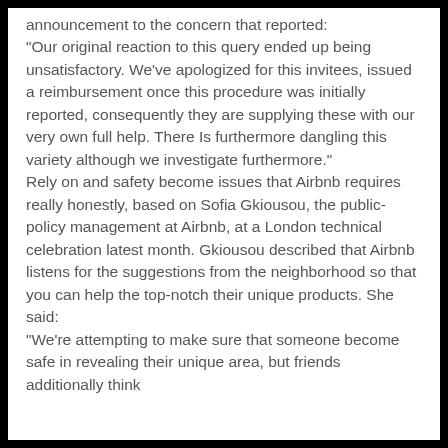announcement to the concern that reported:
"Our original reaction to this query ended up being unsatisfactory. We've apologized for this invitees, issued a reimbursement once this procedure was initially reported, consequently they are supplying these with our very own full help. There Is furthermore dangling this variety although we investigate furthermore."
Rely on and safety become issues that Airbnb requires really honestly, based on Sofia Gkiousou, the public-policy management at Airbnb, at a London technical celebration latest month. Gkiousou described that Airbnb listens for the suggestions from the neighborhood so that you can help the top-notch their unique products. She said:
“We're attempting to make sure that someone become safe in revealing their unique area, but friends additionally think